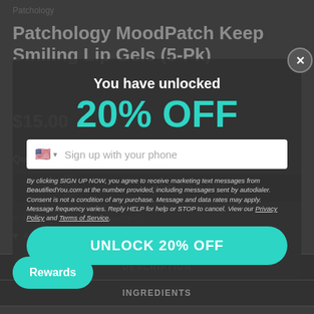Patchology
Patchology MoodPatch Keep Smiling Lip Gels (5-Pk)
$15.00
Quantity:
or 4 interest-free payments ... sezzle
ADD TO WISHLIST
DESCRIPTION
INGREDIENTS
You have unlocked
20% OFF
Sign up with your phone
By clicking SIGN UP NOW, you agree to receive marketing text messages from BeautifiedYou.com at the number provided, including messages sent by autodialer. Consent is not a condition of any purchase. Message and data rates may apply. Message frequency varies. Reply HELP for help or STOP to cancel. View our Privacy Policy and Terms of Service.
UNLOCK 20% OFF
Rewards